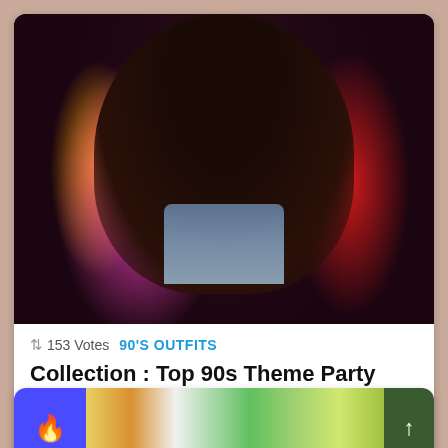[Figure (photo): Photo of a person from behind with long curly dark hair, wearing colorful 90s outfit - purple/orange on left, red on right, with denim shorts visible]
↕ 153 Votes
90'S OUTFITS
Collection : Top 90s Theme Party Outfit Ideas Black Girl (New Season)
+153
[Figure (photo): Partial view of a second card at the bottom with blue fire icon on left and colorful images in the center, dark green arrow button on right]